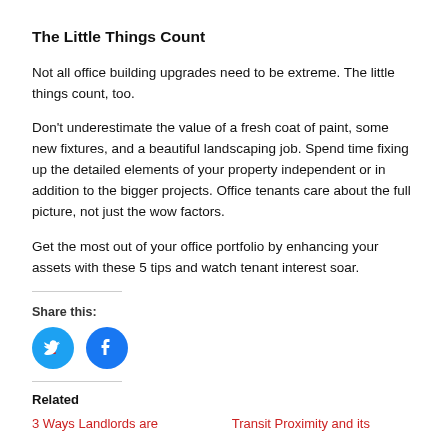The Little Things Count
Not all office building upgrades need to be extreme. The little things count, too.
Don’t underestimate the value of a fresh coat of paint, some new fixtures, and a beautiful landscaping job. Spend time fixing up the detailed elements of your property independent or in addition to the bigger projects. Office tenants care about the full picture, not just the wow factors.
Get the most out of your office portfolio by enhancing your assets with these 5 tips and watch tenant interest soar.
Share this:
[Figure (illustration): Twitter and Facebook share icon buttons (blue circles with bird and f logos)]
Related
3 Ways Landlords are
Transit Proximity and its